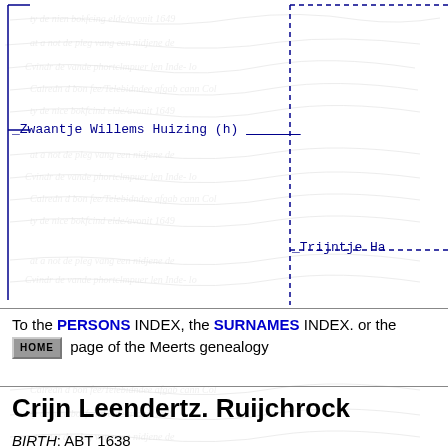[Figure (other): Background manuscript/handwriting image visible throughout page]
_Zwaantje Willems Huizing (h)
_Trijntje Ha
To the PERSONS INDEX, the SURNAMES INDEX. or the HOME page of the Meerts genealogy
Crijn Leendertz. Ruijchrock
BIRTH: ABT 1638
DEATH: